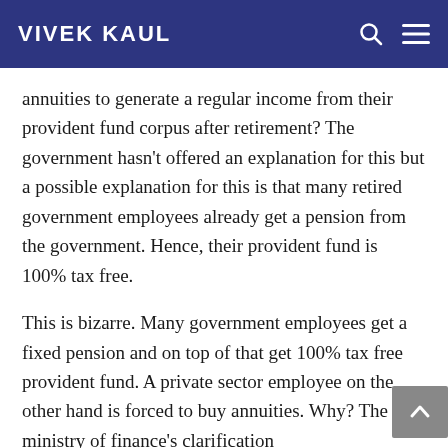VIVEK KAUL
annuities to generate a regular income from their provident fund corpus after retirement? The government hasn't offered an explanation for this but a possible explanation for this is that many retired government employees already get a pension from the government. Hence, their provident fund is 100% tax free.
This is bizarre. Many government employees get a fixed pension and on top of that get 100% tax free provident fund. A private sector employee on the other hand is forced to buy annuities. Why? The ministry of finance's clarification